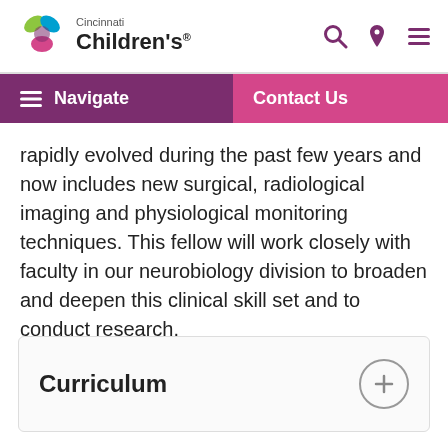[Figure (logo): Cincinnati Children's Hospital logo with colorful leaf/circle icon]
Navigate
Contact Us
rapidly evolved during the past few years and now includes new surgical, radiological imaging and physiological monitoring techniques. This fellow will work closely with faculty in our neurobiology division to broaden and deepen this clinical skill set and to conduct research.
Curriculum